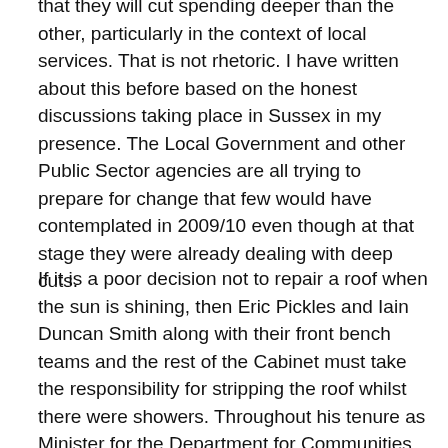that they will cut spending deeper than the other, particularly in the context of local services. That is not rhetoric. I have written about this before based on the honest discussions taking place in Sussex in my presence. The Local Government and other Public Sector agencies are all trying to prepare for change that few would have contemplated in 2009/10 even though at that stage they were already dealing with deep cuts.
If it is a poor decision not to repair a roof when the sun is shining, then Eric Pickles and Iain Duncan Smith along with their front bench teams and the rest of the Cabinet must take the responsibility for stripping the roof whilst there were showers. Throughout his tenure as Minister for the Department for Communities and Local Government Eric Pickles has acted as a buffer between the Cabinet and Local Government, rather than attempting